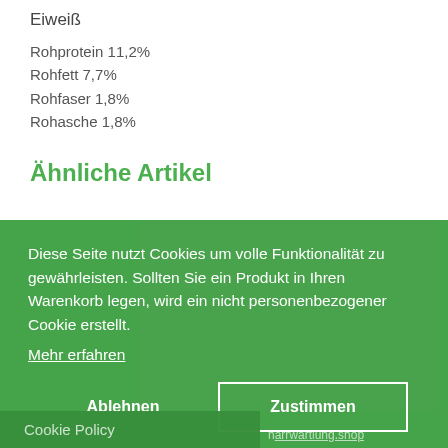Eiweiß
Rohprotein 11,2%
Rohfett 7,7%
Rohfaser 1,8%
Rohasche 1,8%
Ähnliche Artikel
Diese Seite nutzt Cookies um volle Funktionalität zu gewährleisten. Sollten Sie ein Produkt in Ihren Warenkorb legen, wird ein nicht personenbezogener Cookie erstellt. Mehr erfahren
Ablehnen
Zustimmen
Cookie Policy